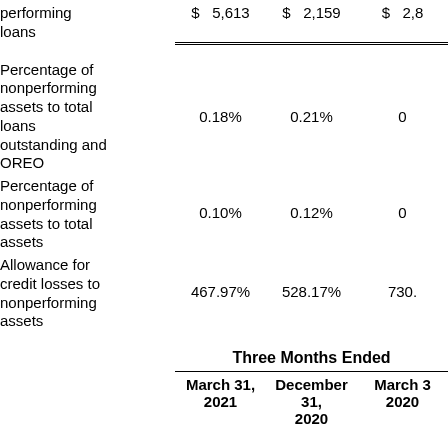|  | March 31, 2021 | December 31, 2020 | March 31, 2020 |
| --- | --- | --- | --- |
| performing loans | $ 5,613 | $ 2,159 | $ 2,8... |
| Percentage of nonperforming assets to total loans outstanding and OREO | 0.18% | 0.21% | 0... |
| Percentage of nonperforming assets to total assets | 0.10% | 0.12% | 0... |
| Allowance for credit losses to nonperforming assets | 467.97% | 528.17% | 730.... |
| Three Months Ended |  |  |  |
| March 31, 2021 | December 31, 2020 | March 31, 2020 |  |